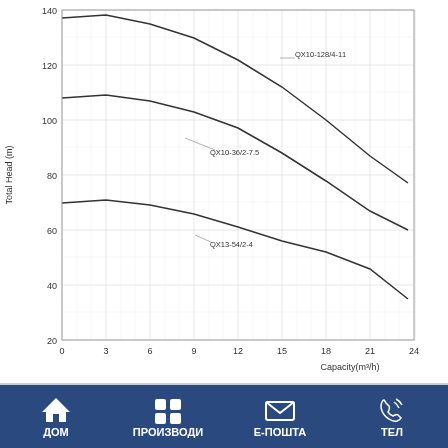[Figure (continuous-plot): Performance curves for three pump models: QX10-128/4-11 (top curve, starting ~137m head), QX10-36/2-7.5 (middle curve, starting ~108m head), QX13-54/2-4 (bottom curve, starting ~70m head). X-axis: Capacity 0-24 m³/h, Y-axis: Total Head 20-140 m. All curves show decreasing head with increasing capacity.]
ДОМ  ПРОИЗВОДИ  Е-ПОШТА  ТЕЛ